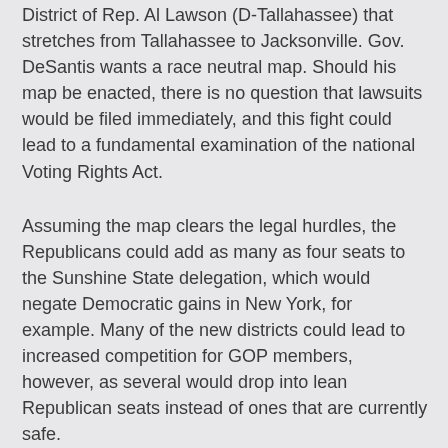District of Rep. Al Lawson (D-Tallahassee) that stretches from Tallahassee to Jacksonville. Gov. DeSantis wants a race neutral map. Should his map be enacted, there is no question that lawsuits would be filed immediately, and this fight could lead to a fundamental examination of the national Voting Rights Act.
Assuming the map clears the legal hurdles, the Republicans could add as many as four seats to the Sunshine State delegation, which would negate Democratic gains in New York, for example. Many of the new districts could lead to increased competition for GOP members, however, as several would drop into lean Republican seats instead of ones that are currently safe.
The only displaced incumbent is Rep. Lawson, as he would have no reasonable place from